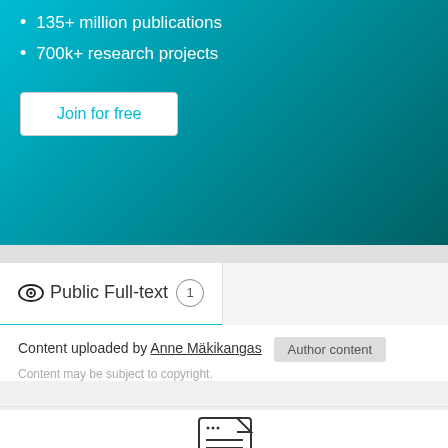135+ million publications
700k+ research projects
Join for free
Public Full-text 1
Content uploaded by Anne Mäkikangas   Author content
Content may be subject to copyright.
[Figure (illustration): Document with pencil icon representing PDF preview unavailable]
A preview of the PDF is not available